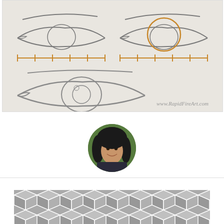[Figure (illustration): Tutorial illustration showing how to draw eyes. Top row has two eyes sketched in pencil style on beige/gray background: left eye shows measurement ticks below it, right eye shows an orange circle overlay on the iris area with measurement ticks below. Bottom shows a larger single eye sketch. Watermark text reads www.RapidFireArt.com.]
[Figure (photo): Circular cropped profile photo of a young Asian woman with long dark hair, smiling, outdoors with green foliage background.]
[Figure (illustration): Gray geometric hexagon/cube pattern repeating tile background strip at bottom of page.]